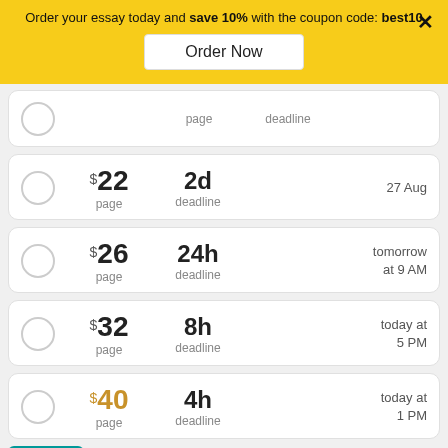Order your essay today and save 10% with the coupon code: best10
Order Now
|  | Price/page | Deadline | Date |
| --- | --- | --- | --- |
| ○ | $22 / page | 2d deadline | 27 Aug |
| ○ | $26 / page | 24h deadline | tomorrow at 9 AM |
| ○ | $32 / page | 8h deadline | today at 5 PM |
| ○ | $40 / page | 4h deadline | today at 1 PM |
We'll send you the first draft for approval by September